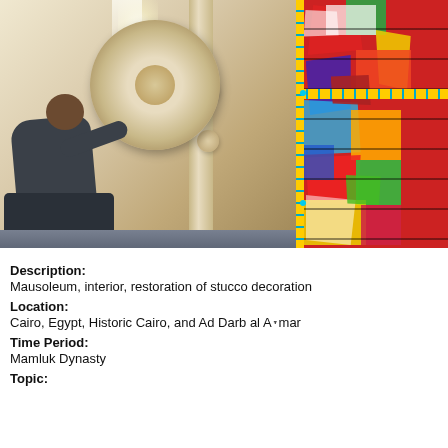[Figure (photo): A craftsman sits and works on restoring a large carved stucco medallion on an interior wall of a mausoleum. On the right side, colorful stained glass panels with Arabic calligraphy and geometric patterns are visible.]
Description:
Mausoleum, interior, restoration of stucco decoration
Location:
Cairo, Egypt, Historic Cairo, and Ad Darb al Aḥmar
Time Period:
Mamluk Dynasty
Topic: